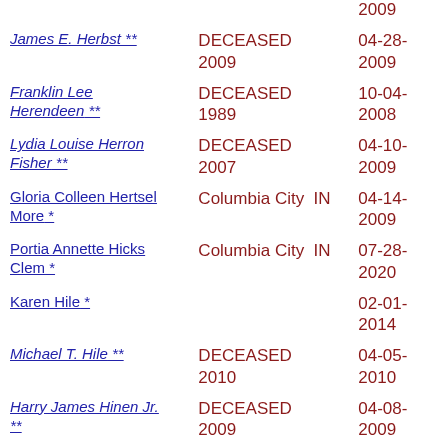| Name | Location/Status | Date |
| --- | --- | --- |
| (continued) |  | 2009 |
| James E. Herbst ** | DECEASED 2009 | 04-28-2009 |
| Franklin Lee Herendeen ** | DECEASED 1989 | 10-04-2008 |
| Lydia Louise Herron Fisher ** | DECEASED 2007 | 04-10-2009 |
| Gloria Colleen Hertsel More * | Columbia City  IN | 04-14-2009 |
| Portia Annette Hicks Clem * | Columbia City  IN | 07-28-2020 |
| Karen Hile * |  | 02-01-2014 |
| Michael T. Hile ** | DECEASED 2010 | 04-05-2010 |
| Harry James Hinen Jr. ** | DECEASED 2009 | 04-08-2009 |
| Thomas E. Hinkle ** | DECEASED 2011 | 04-18-2011 |
| Edward Anthony Hiss | Columbia City  IN | 06-29- |